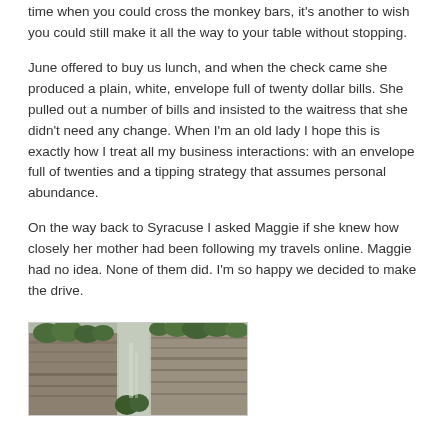time when you could cross the monkey bars, it’s another to wish you could still make it all the way to your table without stopping.
June offered to buy us lunch, and when the check came she produced a plain, white, envelope full of twenty dollar bills. She pulled out a number of bills and insisted to the waitress that she didn’t need any change. When I’m an old lady I hope this is exactly how I treat all my business interactions: with an envelope full of twenties and a tipping strategy that assumes personal abundance.
On the way back to Syracuse I asked Maggie if she knew how closely her mother had been following my travels online. Maggie had no idea. None of them did. I’m so happy we decided to make the drive.
[Figure (photo): Outdoor photograph showing tall rocky cliff face with trees and green foliage, likely a gorge or ravine landscape.]